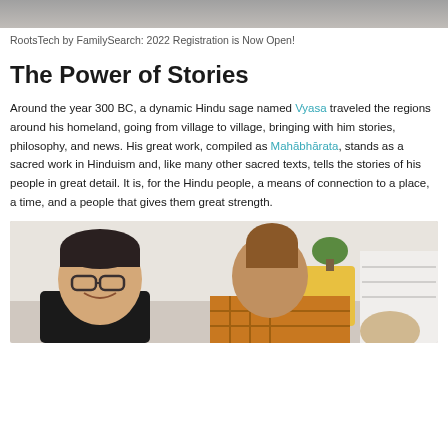[Figure (photo): Top portion of a banner or header image, partially cropped, showing a gray-toned background.]
RootsTech by FamilySearch: 2022 Registration is Now Open!
The Power of Stories
Around the year 300 BC, a dynamic Hindu sage named Vyasa traveled the regions around his homeland, going from village to village, bringing with him stories, philosophy, and news. His great work, compiled as Mahābhārata, stands as a sacred work in Hinduism and, like many other sacred texts, tells the stories of his people in great detail. It is, for the Hindu people, a means of connection to a place, a time, and a people that gives them great strength.
[Figure (photo): Photo of a man with glasses and short hair smiling, wearing a black shirt, seated near a woman with hair in a bun wearing a plaid shirt, in a bright indoor setting with a yellow chair visible in background.]